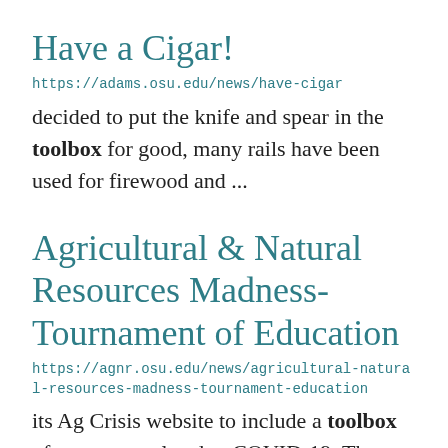Have a Cigar!
https://adams.osu.edu/news/have-cigar
decided to put the knife and spear in the toolbox for good, many rails have been used for firewood and ...
Agricultural & Natural Resources Madness- Tournament of Education
https://agnr.osu.edu/news/agricultural-natural-resources-madness-tournament-education
its Ag Crisis website to include a toolbox of resources related to COVID-19. Those can be reached at ...